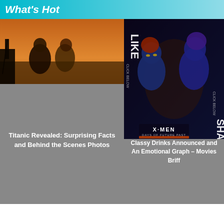What's Hot
[Figure (photo): Titanic movie scene with two actors on the bow of a ship at sunset]
Titanic Revealed: Surprising Facts and Behind the Scenes Photos
[Figure (photo): X-Men Days of Future Past movie poster showing Mystique character in blue, with LIKE and SHARE overlay buttons]
Classy Drinks Announced and An Emotional Graph – Movies Briff